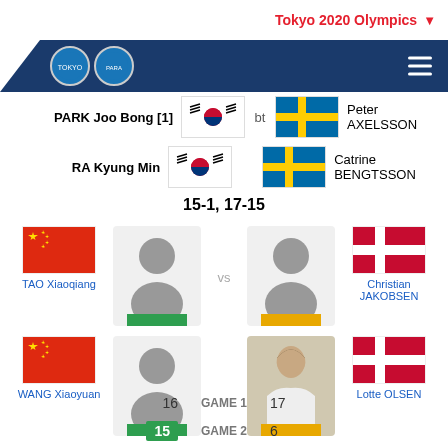Tokyo 2020 Olympics
PARK Joo Bong [1] bt Peter AXELSSON
RA Kyung Min bt Catrine BENGTSSON
15-1, 17-15
TAO Xiaoqiang vs Christian JAKOBSEN
WANG Xiaoyuan vs Lotte OLSEN
16 GAME 1 17
15 GAME 2 6